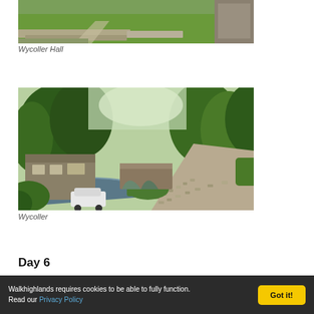[Figure (photo): Partial photo of Wycoller Hall showing stone ruins with green grass and flagstone path]
Wycoller Hall
[Figure (photo): Photo of Wycoller village showing a stone arch bridge over a stream, cobblestone path, trees, and a white car near a stone building]
Wycoller
Day 6
Walkhighlands requires cookies to be able to fully function. Read our Privacy Policy   Got it!